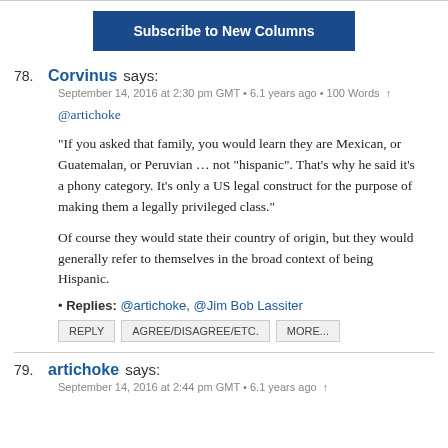Subscribe to New Columns
78. Corvinus says:
September 14, 2016 at 2:30 pm GMT • 6.1 years ago • 100 Words ↑
@artichoke

"If you asked that family, you would learn they are Mexican, or Guatemalan, or Peruvian … not "hispanic". That's why he said it's a phony category. It's only a US legal construct for the purpose of making them a legally privileged class."

Of course they would state their country of origin, but they would generally refer to themselves in the broad context of being Hispanic.

• Replies: @artichoke, @Jim Bob Lassiter
REPLY  AGREE/DISAGREE/ETC.  MORE...
79. artichoke says:
September 14, 2016 at 2:44 pm GMT • 6.1 years ago ↑